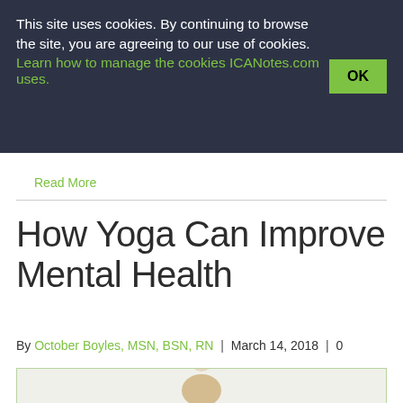This site uses cookies. By continuing to browse the site, you are agreeing to our use of cookies. Learn how to manage the cookies ICANotes.com uses.
Read More
How Yoga Can Improve Mental Health
By October Boyles, MSN, BSN, RN | March 14, 2018 | 0
[Figure (photo): Partial photograph of a person (author photo), cropped at bottom of page]